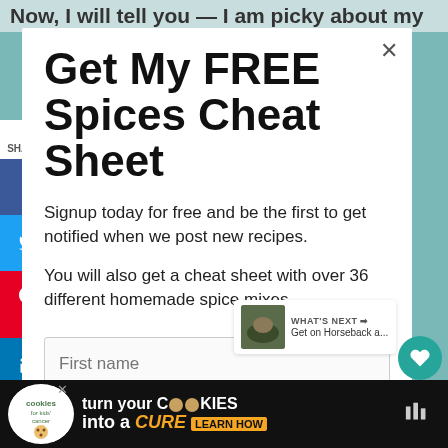Now, I will tell you — I am picky about my
Get My FREE Spices Cheat Sheet
Signup today for free and be the first to get notified when we post new recipes.
You will also get a cheat sheet with over 36 different homemade spice mixes.
First name
WHAT'S NEXT → Get on Horseback a...
[Figure (screenshot): Cookies for Kids Cancer advertisement banner: turn your COOKIES into a CURE LEARN HOW]
5 SHARES